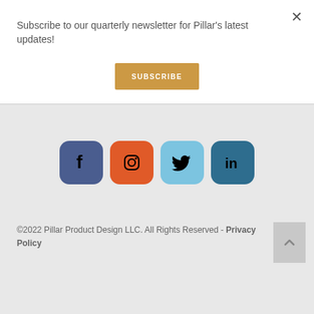Subscribe to our quarterly newsletter for Pillar's latest updates!
SUBSCRIBE
[Figure (illustration): Row of four social media icons: Facebook (dark blue rounded square), Instagram (orange rounded square), Twitter (light blue rounded square), LinkedIn (dark teal rounded square)]
©2022 Pillar Product Design LLC. All Rights Reserved - Privacy Policy